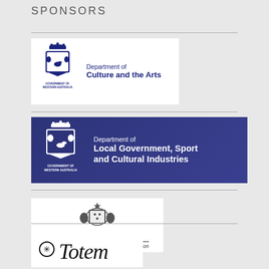SPONSORS
[Figure (logo): Department of Culture and the Arts, Government of Western Australia logo with white background]
[Figure (logo): Department of Local Government, Sport and Cultural Industries, Government of Western Australia logo with dark blue background]
[Figure (logo): Australian Government - Australian Trade and Investment Commission logo]
[Figure (logo): Totem logo in cursive script]